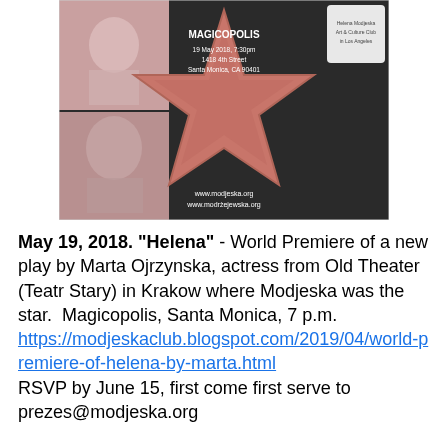[Figure (photo): Event flyer image showing a Hollywood Walk of Fame star with photos of Helena Modjeska, text reading MAGICOPOLIS, 19 May 2018, 7:30pm, 1418 4th Street, Santa Monica CA 90401, and website URLs www.modjeska.org and www.modrżejewska.org, with Helena Modjeska Art & Culture Club in Los Angeles logo.]
May 19, 2018. "Helena" - World Premiere of a new play by Marta Ojrzynska, actress from Old Theater (Teatr Stary) in Krakow where Modjeska was the star.  Magicopolis, Santa Monica, 7 p.m.
https://modjeskaclub.blogspot.com/2019/04/world-premiere-of-helena-by-marta.html
RSVP by June 15, first come first serve to prezes@modjeska.org
June 8, 2019. "Qui Pro Quo -Polish Cabaret" Concert of Cabaret Songs by Polish Club of Las Vegas. North Hollywood, LA Soccer Club - Clubhouse. Concert of Cabaret Songs by Polish Club of Las Vegas. With a catered dinner